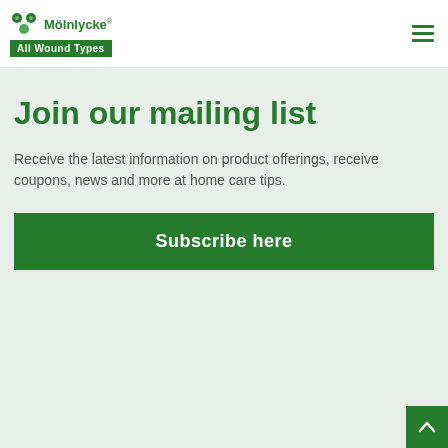[Figure (logo): Mölnlycke logo with green dots icon, brand name 'Mölnlycke' and green tagline bar 'All Wound Types']
Join our mailing list
Receive the latest information on product offerings, receive coupons, news and more at home care tips.
Subscribe here